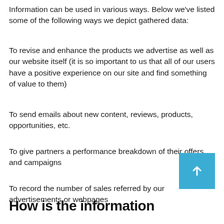Information can be used in various ways. Below we've listed some of the following ways we depict gathered data:
To revise and enhance the products we advertise as well as our website itself (it is so important to us that all of our users have a positive experience on our site and find something of value to them)
To send emails about new content, reviews, products, opportunities, etc.
To give partners a performance breakdown of their offers and campaigns
To record the number of sales referred by our advertisements or webpages
How is the information